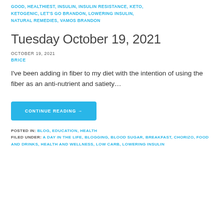GOOD, HEALTHIEST, INSULIN, INSULIN RESISTANCE, KETO, KETOGENIC, LET'S GO BRANDON, LOWERING INSULIN, NATURAL REMEDIES, VAMOS BRANDON
Tuesday October 19, 2021
OCTOBER 19, 2021
BRICE
I've been adding in fiber to my diet with the intention of using the fiber as an anti-nutrient and satiety…
CONTINUE READING →
POSTED IN: BLOG, EDUCATION, HEALTH FILED UNDER: A DAY IN THE LIFE, BLOGGING, BLOOD SUGAR, BREAKFAST, CHORIZO, FOOD AND DRINKS, HEALTH AND WELLNESS, LOW CARB, LOWERING INSULIN